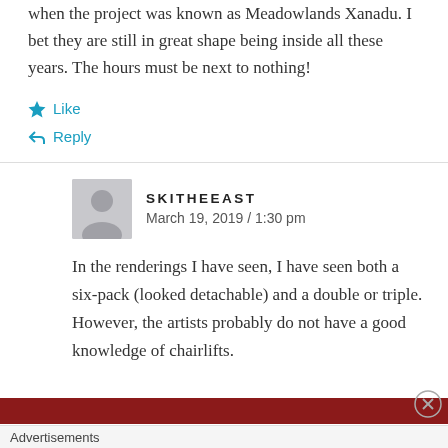when the project was known as Meadowlands Xanadu. I bet they are still in great shape being inside all these years. The hours must be next to nothing!
Like
Reply
SKITHEEAST
March 19, 2019 / 1:30 pm
In the renderings I have seen, I have seen both a six-pack (looked detachable) and a double or triple. However, the artists probably do not have a good knowledge of chairlifts.
Advertisements